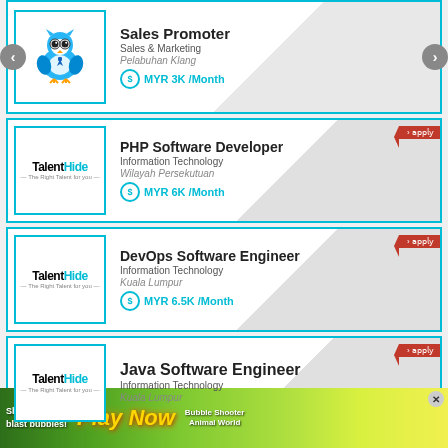[Figure (screenshot): Job listing cards from a job portal app showing Sales Promoter, PHP Software Developer, DevOps Software Engineer, and Java Software Engineer positions from TalentHide, with navigation arrows and an advertisement banner at the bottom]
Sales Promoter
Sales & Marketing
Pelabuhan Klang
MYR 3K /Month
PHP Software Developer
Information Technology
Wilayah Persekutuan
MYR 6K /Month
DevOps Software Engineer
Information Technology
Kuala Lumpur
MYR 6.5K /Month
Java Software Engineer
Information Technology
Kuala Lumpur